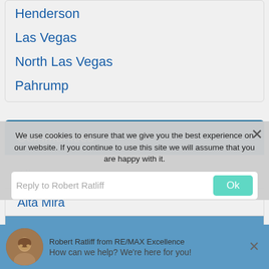Henderson
Las Vegas
North Las Vegas
Pahrump
Communities
Aliante
Alta Mira
Calico Ridge
Robert Ratliff from RE/MAX Excellence
How can we help? We're here for you!
We use cookies to ensure that we give you the best experience on our website. If you continue to use this site we will assume that you are happy with it.
Reply to Robert Ratliff
Ok